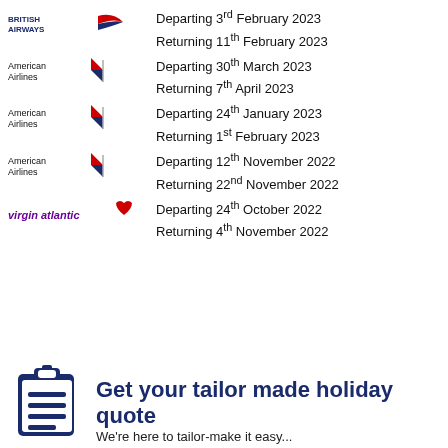[Figure (logo): British Airways logo]
Departing 3rd February 2023
Returning 11th February 2023
[Figure (logo): American Airlines logo]
Departing 30th March 2023
Returning 7th April 2023
[Figure (logo): American Airlines logo]
Departing 24th January 2023
Returning 1st February 2023
[Figure (logo): American Airlines logo]
Departing 12th November 2022
Returning 22nd November 2022
[Figure (logo): Virgin Atlantic logo]
Departing 24th October 2022
Returning 4th November 2022
[Figure (illustration): Clipboard icon]
Get your tailor made holiday quote
We're here to tailor-make it easy...